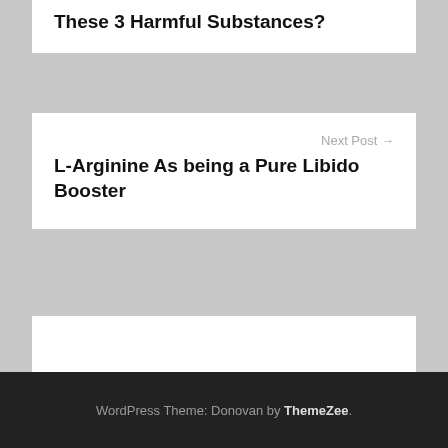These 3 Harmful Substances?
Next Post →
L-Arginine As being a Pure Libido Booster
Search …
WordPress Theme: Donovan by ThemeZee.